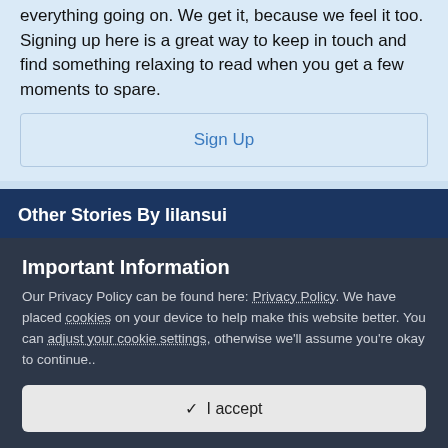everything going on. We get it, because we feel it too. Signing up here is a great way to keep in touch and find something relaxing to read when you get a few moments to spare.
Sign Up
Other Stories By lilansui
A Thousand Years of Hope
Important Information
Our Privacy Policy can be found here: Privacy Policy. We have placed cookies on your device to help make this website better. You can adjust your cookie settings, otherwise we'll assume you're okay to continue..
✓  I accept